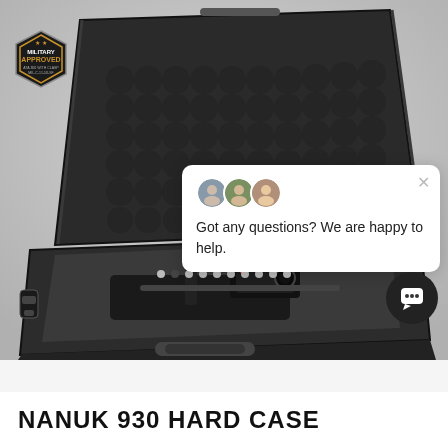[Figure (photo): Open Nanuk 930 hard case with foam interior and camera gimbal equipment inside, photographed from a 3/4 angle above. Military Approved badge visible in top left corner. A chat popup overlay appears in lower right with avatars and the text 'Got any questions? We are happy to help.']
Got any questions? We are happy to help.
NANUK 930 HARD CASE